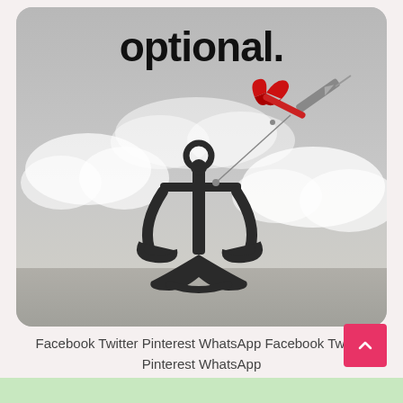[Figure (illustration): A black anchor being lifted by a red dart tied to it with a string, set against a cloudy grey sky background. The word 'optional.' appears in bold black text at the top of the image.]
Facebook Twitter Pinterest WhatsApp Facebook Twitter Pinterest WhatsApp